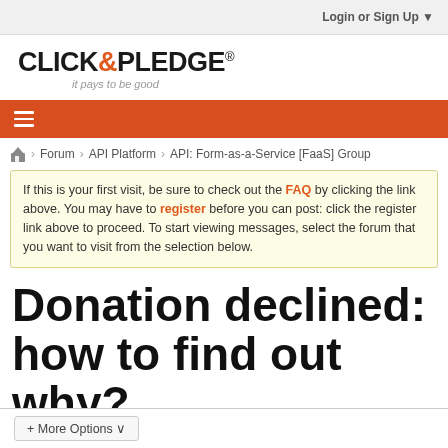Login or Sign Up ▼
[Figure (logo): Click & Pledge logo with tagline 'it pays to be good']
Forum > API Platform > API: Form-as-a-Service [FaaS] Group
If this is your first visit, be sure to check out the FAQ by clicking the link above. You may have to register before you can post: click the register link above to proceed. To start viewing messages, select the forum that you want to visit from the selection below.
Donation declined: how to find out why?
+ More Options ∨